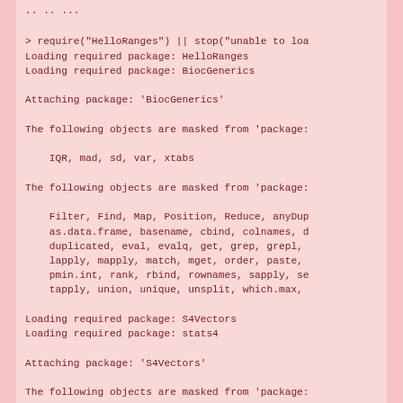> require("HelloRanges") || stop("unable to loa
Loading required package: HelloRanges
Loading required package: BiocGenerics

Attaching package: 'BiocGenerics'

The following objects are masked from 'package:

    IQR, mad, sd, var, xtabs

The following objects are masked from 'package:

    Filter, Find, Map, Position, Reduce, anyDup
    as.data.frame, basename, cbind, colnames, d
    duplicated, eval, evalq, get, grep, grepl,
    lapply, mapply, match, mget, order, paste,
    pmin.int, rank, rbind, rownames, sapply, se
    tapply, union, unique, unsplit, which.max,

Loading required package: S4Vectors
Loading required package: stats4

Attaching package: 'S4Vectors'

The following objects are masked from 'package:

    I, expand.grid, unname